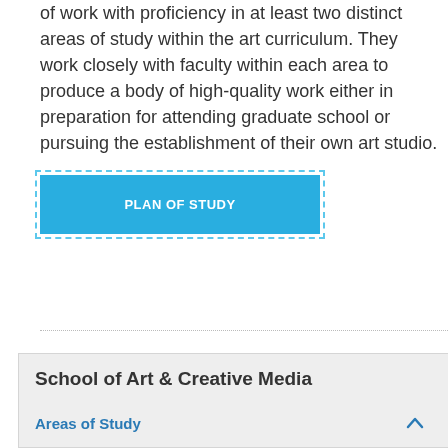of work with proficiency in at least two distinct areas of study within the art curriculum. They work closely with faculty within each area to produce a body of high-quality work either in preparation for attending graduate school or pursuing the establishment of their own art studio.
PLAN OF STUDY
School of Art & Creative Media
Areas of Study